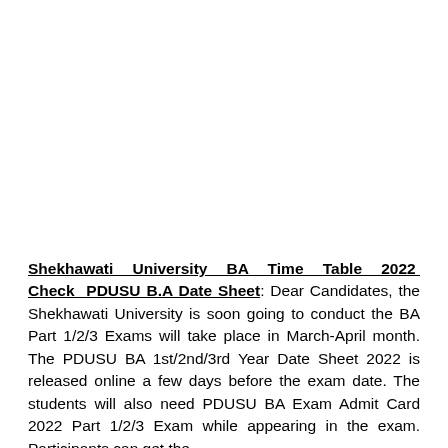Shekhawati University BA Time Table 2022 Check PDUSU B.A Date Sheet: Dear Candidates, the Shekhawati University is soon going to conduct the BA Part 1/2/3 Exams will take place in March-April month. The PDUSU BA 1st/2nd/3rd Year Date Sheet 2022 is released online a few days before the exam date. The students will also need PDUSU BA Exam Admit Card 2022 Part 1/2/3 Exam while appearing in the exam. Participants can get the